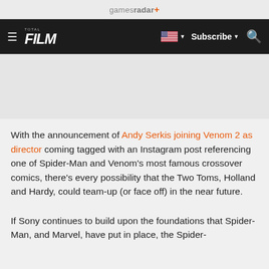gamesradar+
TOTAL FILM | Subscribe | Search
With the announcement of Andy Serkis joining Venom 2 as director coming tagged with an Instagram post referencing one of Spider-Man and Venom's most famous crossover comics, there's every possibility that the Two Toms, Holland and Hardy, could team-up (or face off) in the near future.
If Sony continues to build upon the foundations that Spider-Man, and Marvel, have put in place, the Spider-